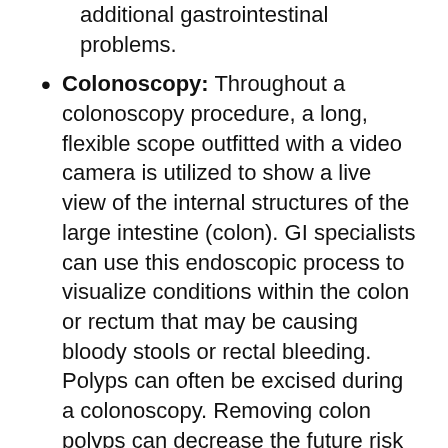could be a sign of cancer of the colon or additional gastrointestinal problems.
Colonoscopy: Throughout a colonoscopy procedure, a long, flexible scope outfitted with a video camera is utilized to show a live view of the internal structures of the large intestine (colon). GI specialists can use this endoscopic process to visualize conditions within the colon or rectum that may be causing bloody stools or rectal bleeding. Polyps can often be excised during a colonoscopy. Removing colon polyps can decrease the future risk of colon cancer.
Capsule endoscopy: With a capsule endoscopy, a tiny wireless camera encapsulated in a pill-like device is swallowed. The miniature camera takes and